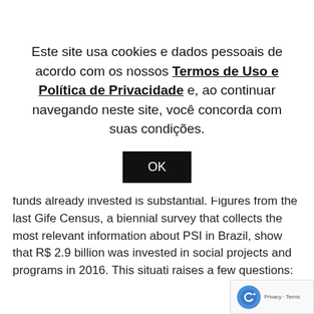Este site usa cookies e dados pessoais de acordo com os nossos Termos de Uso e Política de Privacidade e, ao continuar navegando neste site, você concorda com suas condições.
OK
changes for the target public.
This is a recent practice in Brazil, but the amount of funds already invested is substantial. Figures from the last Gife Census, a biennial survey that collects the most relevant information about PSI in Brazil, show that R$ 2.9 billion was invested in social projects and programs in 2016. This situati raises a few questions: